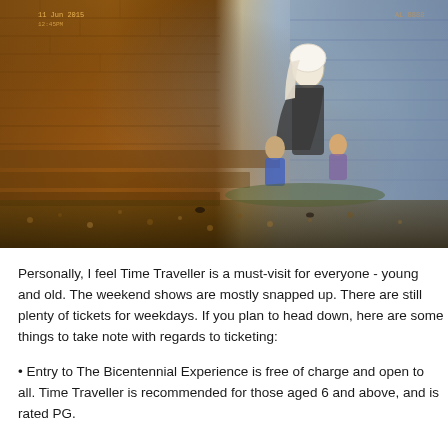[Figure (photo): Photograph showing a historic stone/brick setting with warm amber tones on the left side and cooler blue-grey tones on the right. A figure in traditional/period costume with children is visible in the right portion of the image against a brick wall backdrop. The ground is covered with autumn leaves. Date stamps visible in corners.]
Personally, I feel Time Traveller is a must-visit for everyone - young and old. The weekend shows are mostly snapped up. There are still plenty of tickets for weekdays. If you plan to head down, here are some things to take note with regards to ticketing:
Entry to The Bicentennial Experience is free of charge and open to all. Time Traveller is recommended for those aged 6 and above, and is rated PG.